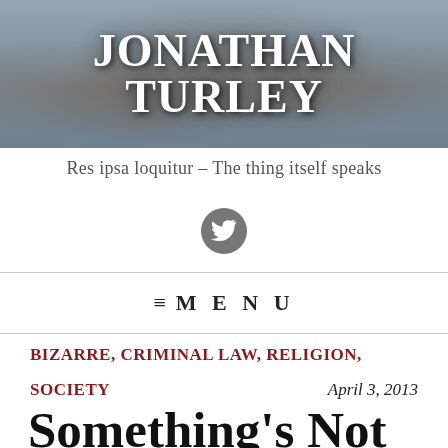JONATHAN TURLEY
Res ipsa loquitur – The thing itself speaks
[Figure (logo): Twitter bird icon button in dark grey circle]
≡ MENU
BIZARRE, CRIMINAL LAW, RELIGION, SOCIETY
April 3, 2013
Something's Not